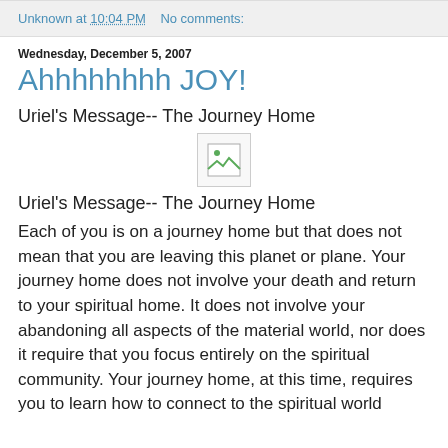Unknown at 10:04 PM   No comments:
Wednesday, December 5, 2007
Ahhhhhhhh JOY!
Uriel's Message-- The Journey Home
[Figure (photo): Broken/missing image placeholder icon]
Uriel's Message-- The Journey Home
Each of you is on a journey home but that does not mean that you are leaving this planet or plane. Your journey home does not involve your death and return to your spiritual home. It does not involve your abandoning all aspects of the material world, nor does it require that you focus entirely on the spiritual community. Your journey home, at this time, requires you to learn how to connect to the spiritual world